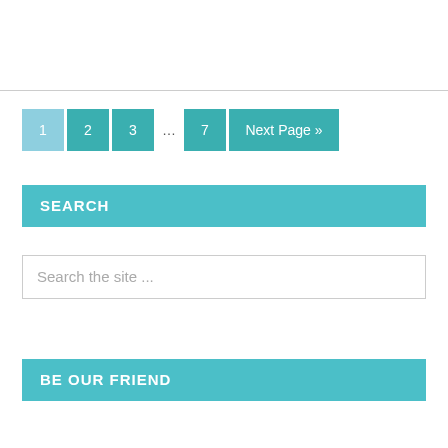1  2  3  …  7  Next Page »
SEARCH
Search the site ...
BE OUR FRIEND